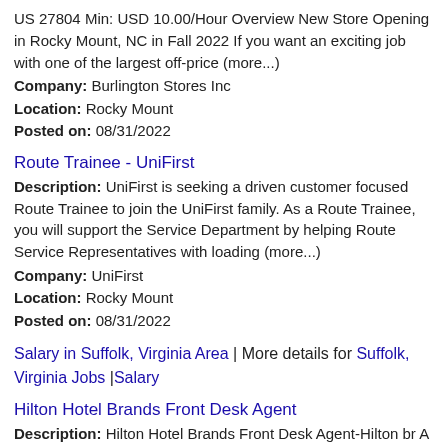US 27804 Min: USD 10.00/Hour Overview New Store Opening in Rocky Mount, NC in Fall 2022 If you want an exciting job with one of the largest off-price (more...)
Company: Burlington Stores Inc
Location: Rocky Mount
Posted on: 08/31/2022
Route Trainee - UniFirst
Description: UniFirst is seeking a driven customer focused Route Trainee to join the UniFirst family. As a Route Trainee, you will support the Service Department by helping Route Service Representatives with loading (more...)
Company: UniFirst
Location: Rocky Mount
Posted on: 08/31/2022
Salary in Suffolk, Virginia Area | More details for Suffolk, Virginia Jobs |Salary
Hilton Hotel Brands Front Desk Agent
Description: Hilton Hotel Brands Front Desk Agent-Hilton br A Guest Services
Company: Tier One Alerts - Hilton
Location: Rocky Mount